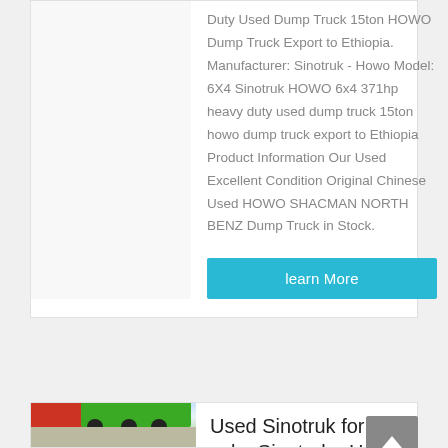Duty Used Dump Truck 15ton HOWO Dump Truck Export to Ethiopia. Manufacturer: Sinotruk - Howo Model: 6X4 Sinotruk HOWO 6x4 371hp heavy duty used dump truck 15ton howo dump truck export to Ethiopia Product Information Our Used Excellent Condition Original Chinese Used HOWO SHACMAN NORTH BENZ Dump Truck in Stock.
learn More
[Figure (photo): Green Sinotruk HOWO dump truck parked in a lot]
Used Sinotruk for sale, Sinotruk - Howo